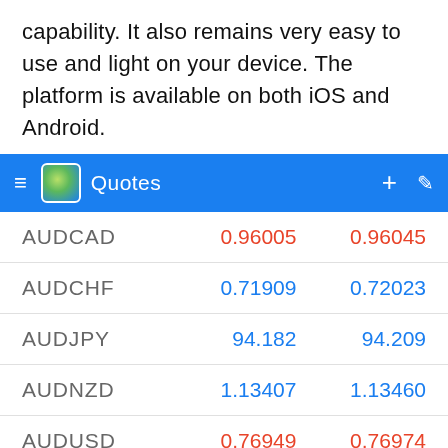capability. It also remains very easy to use and light on your device. The platform is available on both iOS and Android.
| Pair | Bid | Ask |
| --- | --- | --- |
| AUDCAD | 0.96005 | 0.96045 |
| AUDCHF | 0.71909 | 0.72023 |
| AUDJPY | 94.182 | 94.209 |
| AUDNZD | 1.13407 | 1.13460 |
| AUDUSD | 0.76949 | 0.76974 |
| CADCHE | 0.74905 | 0.74981 |